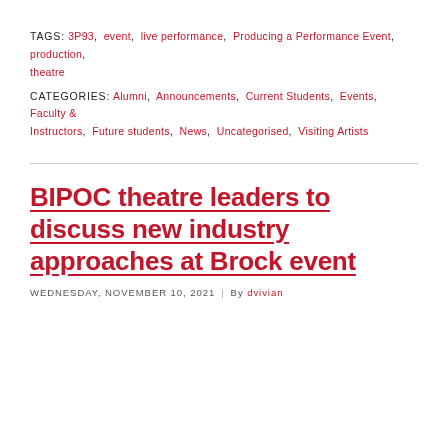TAGS: 3P93, event, live performance, Producing a Performance Event, production, theatre
CATEGORIES: Alumni, Announcements, Current Students, Events, Faculty & Instructors, Future students, News, Uncategorised, Visiting Artists
BIPOC theatre leaders to discuss new industry approaches at Brock event
WEDNESDAY, NOVEMBER 10, 2021 | By dvivian